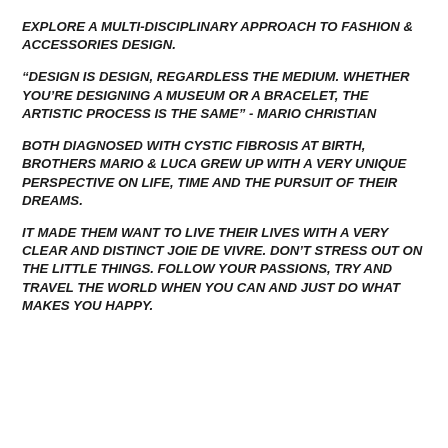EXPLORE A MULTI-DISCIPLINARY APPROACH TO FASHION & ACCESSORIES DESIGN.
“DESIGN IS DESIGN, REGARDLESS THE MEDIUM. WHETHER YOU’RE DESIGNING A MUSEUM OR A BRACELET, THE ARTISTIC PROCESS IS THE SAME” - MARIO CHRISTIAN
BOTH DIAGNOSED WITH CYSTIC FIBROSIS AT BIRTH, BROTHERS MARIO & LUCA GREW UP WITH A VERY UNIQUE PERSPECTIVE ON LIFE, TIME AND THE PURSUIT OF THEIR DREAMS.
IT MADE THEM WANT TO LIVE THEIR LIVES WITH A VERY CLEAR AND DISTINCT JOIE DE VIVRE. DON’T STRESS OUT ON THE LITTLE THINGS. FOLLOW YOUR PASSIONS, TRY AND TRAVEL THE WORLD WHEN YOU CAN AND JUST DO WHAT MAKES YOU HAPPY.